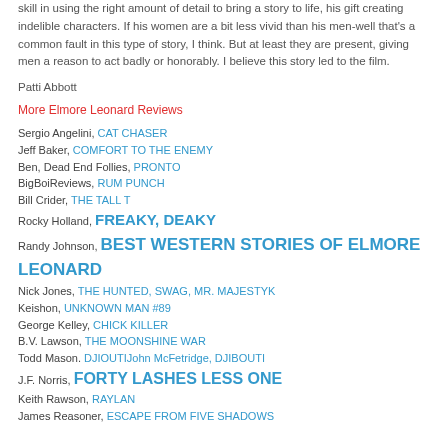skill in using the right amount of detail to bring a story to life, his gift creating indelible characters. If his women are a bit less vivid than his men-well that's a common fault in this type of story, I think. But at least they are present, giving men a reason to act badly or honorably. I believe this story led to the film.
Patti Abbott
More Elmore Leonard Reviews
Sergio Angelini, CAT CHASER
Jeff Baker, COMFORT TO THE ENEMY
Ben, Dead End Follies, PRONTO
BigBoiReviews, RUM PUNCH
Bill Crider, THE TALL T
Rocky Holland, FREAKY, DEAKY
Randy Johnson, BEST WESTERN STORIES OF ELMORE LEONARD
Nick Jones, THE HUNTED, SWAG, MR. MAJESTYK
Keishon, UNKNOWN MAN #89
George Kelley, CHICK KILLER
B.V. Lawson, THE MOONSHINE WAR
Todd Mason. DJIOUTIJohn McFetridge, DJIBOUTI
J.F. Norris, FORTY LASHES LESS ONE
Keith Rawson, RAYLAN
James Reasoner, ESCAPE FROM FIVE SHADOWS